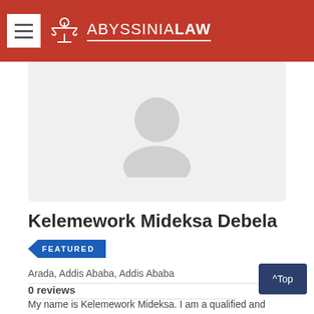ABYSSINIA LAW
[Figure (photo): Default user profile avatar placeholder image in light gray]
Kelemework Mideksa Debela
FEATURED
Arada, Addis Ababa, Addis Ababa
0 reviews
My name is Kelemework Mideksa. I am a qualified and licensed lawyer both at Federal Courts and Oromia Regional Courts. I have